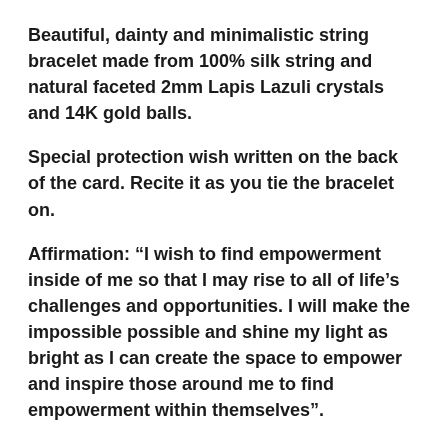Beautiful, dainty and minimalistic string bracelet made from 100% silk string and natural faceted 2mm Lapis Lazuli crystals and 14K gold balls.
Special protection wish written on the back of the card. Recite it as you tie the bracelet on.
Affirmation: “I wish to find empowerment inside of me so that I may rise to all of life’s challenges and opportunities. I will make the impossible possible and shine my light as bright as I can create the space to empower and inspire those around me to find empowerment within themselves”.
___________
Our 11:11 Make a Wish Ritual: